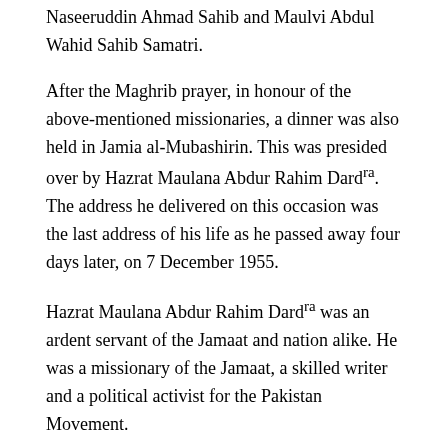Naseeruddin Ahmad Sahib and Maulvi Abdul Wahid Sahib Samatri.
After the Maghrib prayer, in honour of the above-mentioned missionaries, a dinner was also held in Jamia al-Mubashirin. This was presided over by Hazrat Maulana Abdur Rahim Dard(ra). The address he delivered on this occasion was the last address of his life as he passed away four days later, on 7 December 1955.
Hazrat Maulana Abdur Rahim Dard(ra) was an ardent servant of the Jamaat and nation alike. He was a missionary of the Jamaat, a skilled writer and a political activist for the Pakistan Movement.
After completing his master's degree, Dard Sahib(ra) offered himself for the service of religion. In 1920-21, after Hazrat Musleh-e-Maud(ra) established nazarats (secretariats of Sadr Anjuman Ahmadiyya), Huzoor(ra) appointed Dard Sahib(ra) as a nazir. Later,